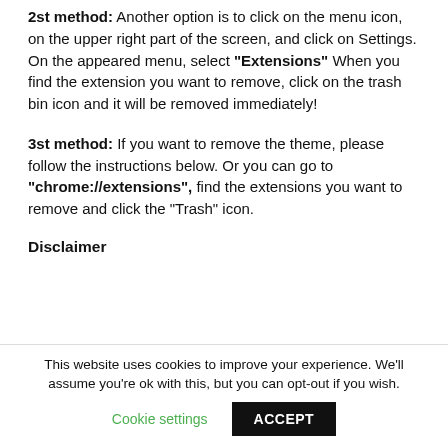2st method: Another option is to click on the menu icon, on the upper right part of the screen, and click on Settings. On the appeared menu, select "Extensions" When you find the extension you want to remove, click on the trash bin icon and it will be removed immediately!
3st method: If you want to remove the theme, please follow the instructions below. Or you can go to "chrome://extensions", find the extensions you want to remove and click the "Trash" icon.
Disclaimer
This website uses cookies to improve your experience. We'll assume you're ok with this, but you can opt-out if you wish.
Cookie settings | ACCEPT